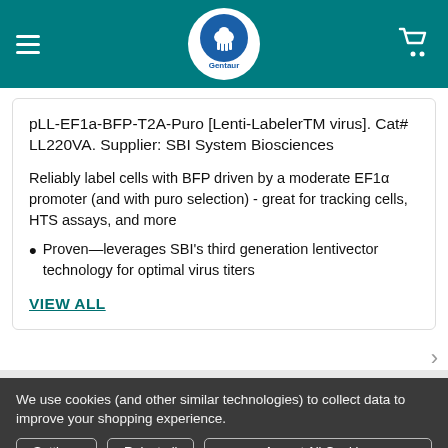Gentaur
pLL-EF1a-BFP-T2A-Puro [Lenti-LabelerTM virus]. Cat# LL220VA. Supplier: SBI System Biosciences
Reliably label cells with BFP driven by a moderate EF1α promoter (and with puro selection) - great for tracking cells, HTS assays, and more
Proven—leverages SBI's third generation lentivector technology for optimal virus titers
VIEW ALL
We use cookies (and other similar technologies) to collect data to improve your shopping experience.